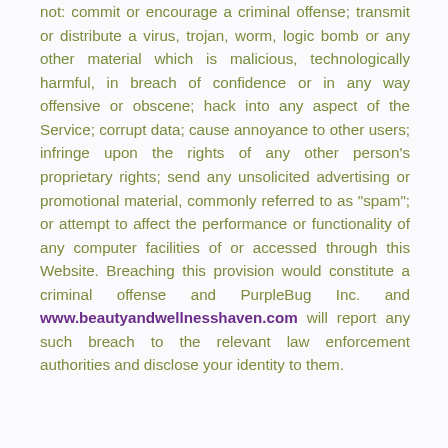not: commit or encourage a criminal offense; transmit or distribute a virus, trojan, worm, logic bomb or any other material which is malicious, technologically harmful, in breach of confidence or in any way offensive or obscene; hack into any aspect of the Service; corrupt data; cause annoyance to other users; infringe upon the rights of any other person's proprietary rights; send any unsolicited advertising or promotional material, commonly referred to as "spam"; or attempt to affect the performance or functionality of any computer facilities of or accessed through this Website. Breaching this provision would constitute a criminal offense and PurpleBug Inc. and www.beautyandwellnesshaven.com will report any such breach to the relevant law enforcement authorities and disclose your identity to them.